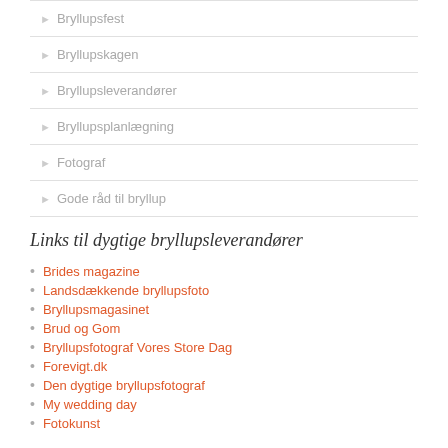Bryllupsfest
Bryllupskagen
Bryllupsleverandører
Bryllupsplanlægning
Fotograf
Gode råd til bryllup
Links til dygtige bryllupsleverandører
Brides magazine
Landsdækkende bryllupsfoto
Bryllupsmagasinet
Brud og Gom
Bryllupsfotograf Vores Store Dag
Forevigt.dk
Den dygtige bryllupsfotograf
My wedding day
Fotokunst